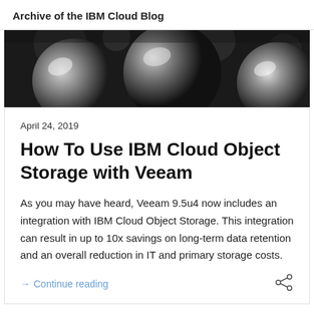Archive of the IBM Cloud Blog
[Figure (photo): Close-up photo of metallic spherical objects with dark background, bokeh lighting effect]
April 24, 2019
How To Use IBM Cloud Object Storage with Veeam
As you may have heard, Veeam 9.5u4 now includes an integration with IBM Cloud Object Storage. This integration can result in up to 10x savings on long-term data retention and an overall reduction in IT and primary storage costs.
→ Continue reading